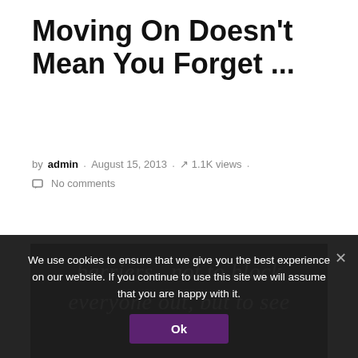Moving On Doesn't Mean You Forget ...
by admin · August 15, 2013 · 1.1K views · No comments
[Figure (photo): Dark background image with italic serif text reading: 'barriers.. not to block everyone out, but to see' (partially visible, text continues below cutoff)]
We use cookies to ensure that we give you the best experience on our website. If you continue to use this site we will assume that you are happy with it.